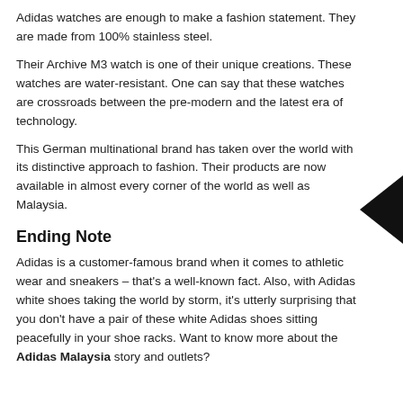Adidas watches are enough to make a fashion statement. They are made from 100% stainless steel.
Their Archive M3 watch is one of their unique creations. These watches are water-resistant. One can say that these watches are crossroads between the pre-modern and the latest era of technology.
This German multinational brand has taken over the world with its distinctive approach to fashion. Their products are now available in almost every corner of the world as well as Malaysia.
Ending Note
Adidas is a customer-famous brand when it comes to athletic wear and sneakers – that's a well-known fact. Also, with Adidas white shoes taking the world by storm, it's utterly surprising that you don't have a pair of these white Adidas shoes sitting peacefully in your shoe racks. Want to know more about the Adidas Malaysia story and outlets?